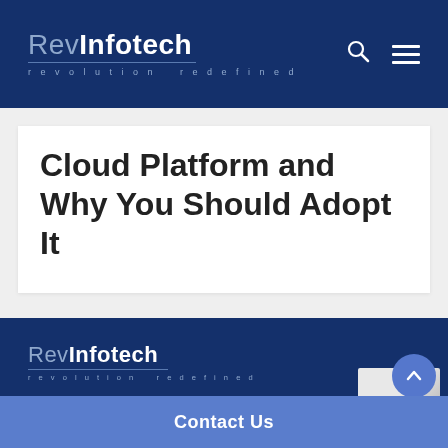RevInfotech — revolution redefined
Cloud Platform and Why You Should Adopt It
[Figure (logo): RevInfotech logo with tagline 'revolution redefined' in footer area]
Contact Us